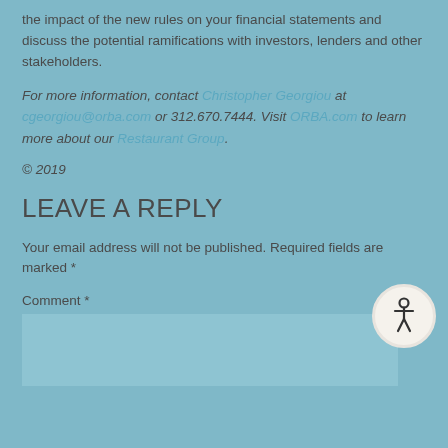the impact of the new rules on your financial statements and discuss the potential ramifications with investors, lenders and other stakeholders.
For more information, contact Christopher Georgiou at cgeorgiou@orba.com or 312.670.7444. Visit ORBA.com to learn more about our Restaurant Group.
© 2019
LEAVE A REPLY
Your email address will not be published. Required fields are marked *
Comment *
[Figure (other): Accessibility icon - circular button with person/human figure symbol]